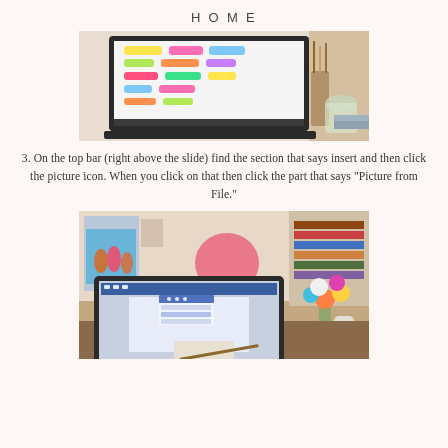HOME
[Figure (photo): Laptop screen showing colorful highlighter swatches/strokes on a white background, with desk supplies including brushes and a glass jar in the background]
3. On the top bar (right above the slide) find the section that says insert and then click the picture icon. When you click on that then click the part that says "Picture from File."
[Figure (photo): Laptop on a desk showing a presentation software with a dropdown menu open, surrounded by a cozy room with a pink lamp, photos on the wall, colorful flowers in a glass Coca-Cola bottle, and makeup brushes]